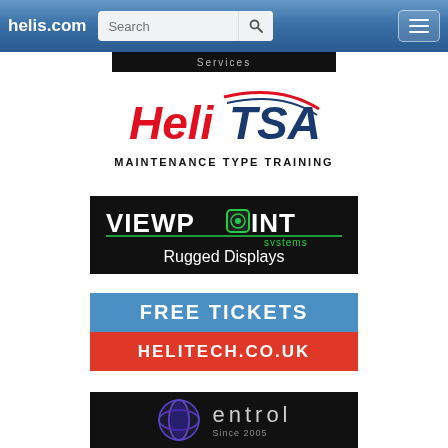helis.com — Search bar and navigation
[Figure (screenshot): Partially visible dark ad banner at top with light text 'Services' or similar]
[Figure (logo): HeliTSA logo with red 'Heli' text and 'TSA' in blue with swoosh, subtitle 'MAINTENANCE TYPE TRAINING' in bold black]
[Figure (logo): ViewPoint Systems logo on black background with green circuit-board 'O', subtitle 'Rugged Displays' in white]
[Figure (logo): Free Tickets / Helitech.co.uk banner: blue upper half 'FREE TICKETS' in white bold, red lower half 'HELITECH.CO.UK' in white bold]
[Figure (logo): Entrol logo on black background with purple/blue globe icon and 'entrol' in light grey text, 'Since 2005' partially visible]